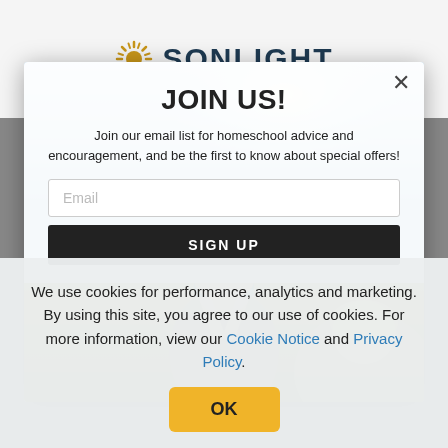[Figure (logo): Sonlight logo with sun/rays icon and bold dark blue SONLIGHT text]
JOIN US!
Join our email list for homeschool advice and encouragement, and be the first to know about special offers!
[Figure (photo): Children outdoors in a sunny field, one child holding up a book]
We use cookies for performance, analytics and marketing. By using this site, you agree to our use of cookies. For more information, view our Cookie Notice and Privacy Policy.